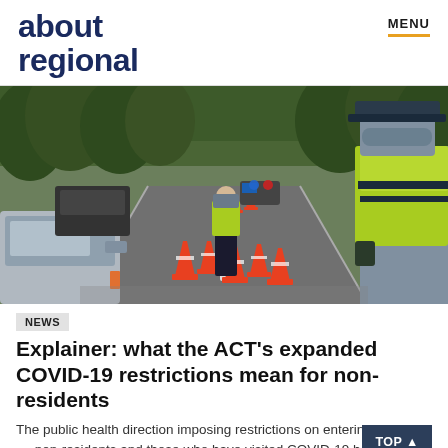about regional
[Figure (photo): Police officers in high-visibility vests standing at a road checkpoint with orange traffic cones on a wet road surrounded by trees. One officer wears a face mask.]
NEWS
Explainer: what the ACT's expanded COVID-19 restrictions mean for non-residents
The public health direction imposing restrictions on entering the ACT on non-residents and those who have visited COVID-19 hotspots in...